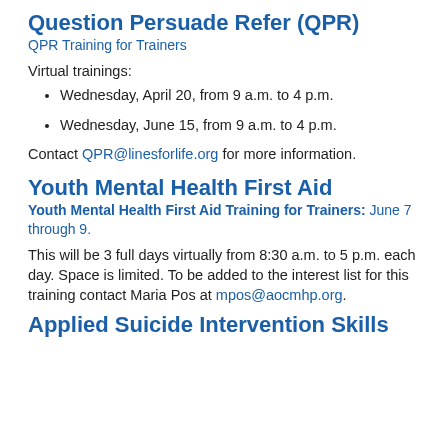Question Persuade Refer (QPR)
QPR Training for Trainers
Virtual trainings:
Wednesday, April 20, from 9 a.m. to 4 p.m.
Wednesday, June 15, from 9 a.m. to 4 p.m.
Contact QPR@linesforlife.org for more information.
Youth Mental Health First Aid
Youth Mental Health First Aid Training for Trainers: June 7 through 9.
This will be 3 full days virtually from 8:30 a.m. to 5 p.m. each day. Space is limited. To be added to the interest list for this training contact Maria Pos at mpos@aocmhp.org.
Applied Suicide Intervention Skills